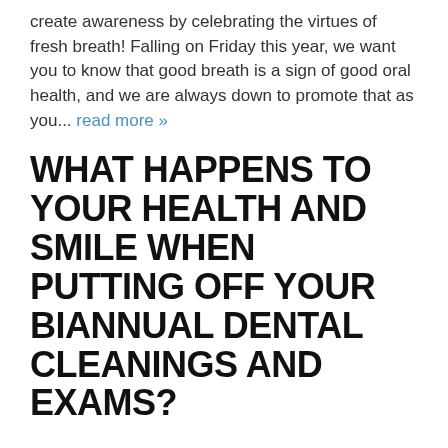create awareness by celebrating the virtues of fresh breath! Falling on Friday this year, we want you to know that good breath is a sign of good oral health, and we are always down to promote that as you... read more »
WHAT HAPPENS TO YOUR HEALTH AND SMILE WHEN PUTTING OFF YOUR BIANNUAL DENTAL CLEANINGS AND EXAMS?
Because of the pandemic (and occasionally dental anxiety just from going to the dentist), patients may find themselves tempted to skip a dental appointment or two, especially if they are not currently having any acute dental problems. But skipping those routine dental cleanings can also put one's oral health and overall health at risk! It is because tooth